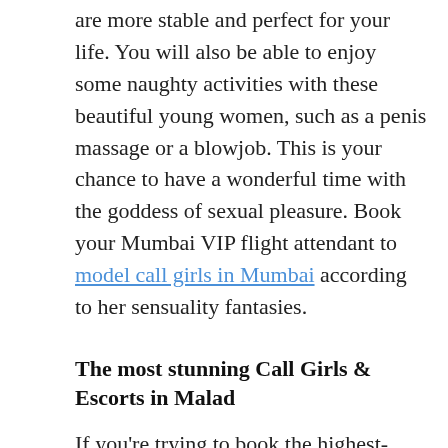are more stable and perfect for your life. You will also be able to enjoy some naughty activities with these beautiful young women, such as a penis massage or a blowjob. This is your chance to have a wonderful time with the goddess of sexual pleasure. Book your Mumbai VIP flight attendant to model call girls in Mumbai according to her sensuality fantasies.
The most stunning Call Girls & Escorts in Malad
If you're trying to book the highest-rated Malad Escorts offering at locations close to you, you can make an appointment. The escorts will help you be satisfied. Every time you will be able to visit the incredible location of your